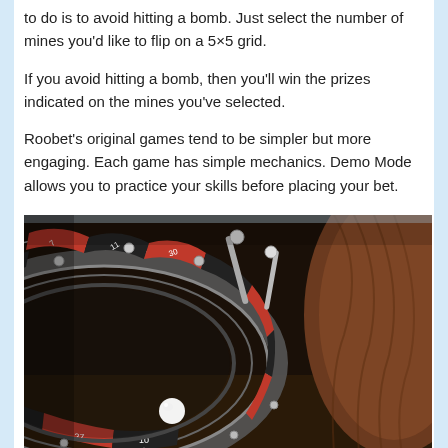to do is to avoid hitting a bomb. Just select the number of mines you'd like to flip on a 5×5 grid.
If you avoid hitting a bomb, then you'll win the prizes indicated on the mines you've selected.
Roobet's original games tend to be simpler but more engaging. Each game has simple mechanics. Demo Mode allows you to practice your skills before placing your bet.
[Figure (photo): Close-up photograph of a roulette wheel showing red and black numbered slots with a white ball resting near the bottom, and a wooden center visible on the right side.]